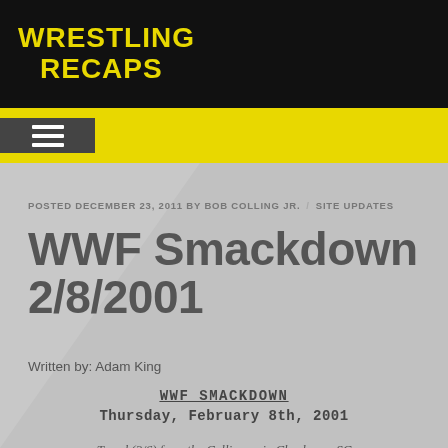Wrestling Recaps
POSTED DECEMBER 23, 2011 BY BOB COLLING JR. / SITE UPDATES
WWF Smackdown 2/8/2001
Written by: Adam King
WWF SMACKDOWN
Thursday, February 8th, 2001
Taped (2/6) from the Colliseum in Charleson, SC